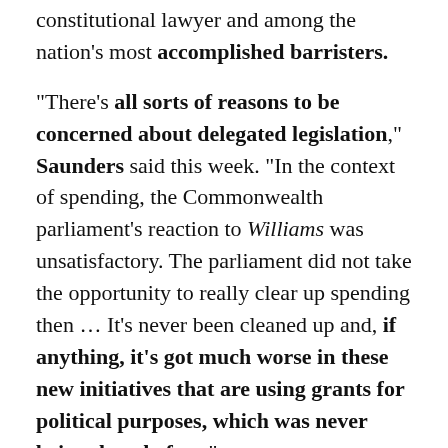constitutional lawyer and among the nation's most accomplished barristers.
“There’s all sorts of reasons to be concerned about delegated legislation,” Saunders said this week. “In the context of spending, the Commonwealth parliament’s reaction to Williams was unsatisfactory. The parliament did not take the opportunity to really clear up spending then … It’s never been cleaned up and, if anything, it’s got much worse in these new initiatives that are using grants for political purposes, which was never being done before.”
She said it undermined a valuable commodity: people’s faith in government.
Bret Walker represented Ronald Williams in his two